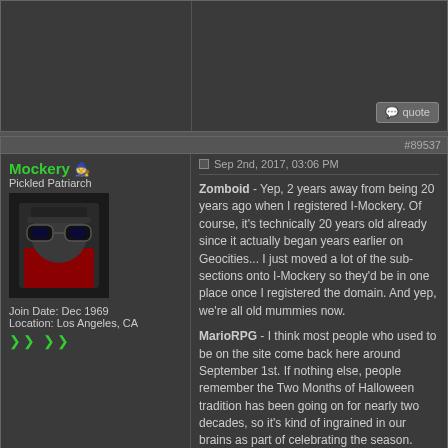#89537
Mockery
Pickled Patriarch
[Figure (photo): Avatar photo of Mockery, a person wearing goggles and a red outfit]
Join Date: Dec 1969
Location: Los Angeles, CA
Sep 2nd, 2017, 03:06 PM
Zomboid - Yep, 2 years away from being 20 years ago when I registered I-Mockery. Of course, it's technically 20 years old already since it actually began years earlier on Geocities... I just moved a lot of the sub-sections onto I-Mockery so they'd be in one place once I registered the domain. And yep, we're all old mummies now.

MarioRPG - I think most people who used to be on the site come back here around September 1st. If nothing else, people remember the Two Months of Halloween tradition has been going on for nearly two decades, so it's kind of ingrained in our brains as part of celebrating the season. Glad you're looking forward to the articles, cuz I have a LOT o' fun stuff planned for this season.
Talent, vigor, drive...
You'll eat peanut butter the rest of your life.
#89538
Tadao
Sep 2nd, 2017, 04:18 PM